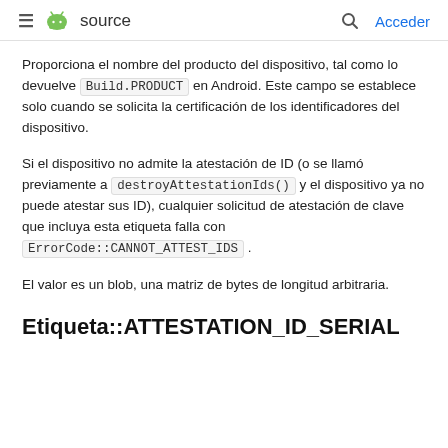≡ 🤖 source   🔍 Acceder
Proporciona el nombre del producto del dispositivo, tal como lo devuelve Build.PRODUCT en Android. Este campo se establece solo cuando se solicita la certificación de los identificadores del dispositivo.
Si el dispositivo no admite la atestación de ID (o se llamó previamente a destroyAttestationIds() y el dispositivo ya no puede atestar sus ID), cualquier solicitud de atestación de clave que incluya esta etiqueta falla con ErrorCode::CANNOT_ATTEST_IDS .
El valor es un blob, una matriz de bytes de longitud arbitraria.
Etiqueta::ATTESTATION_ID_SERIAL